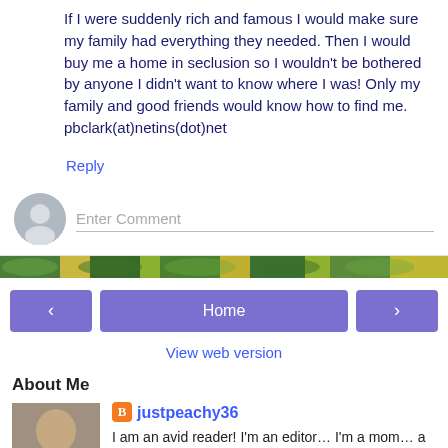If I were suddenly rich and famous I would make sure my family had everything they needed. Then I would buy me a home in seclusion so I wouldn't be bothered by anyone I didn't want to know where I was! Only my family and good friends would know how to find me.
pbclark(at)netins(dot)net
Reply
[Figure (illustration): Decorative banner with green and yellow leaf/plant pattern]
‹
Home
›
View web version
About Me
justpeachy36
I am an avid reader! I'm an editor… I'm a mom… a